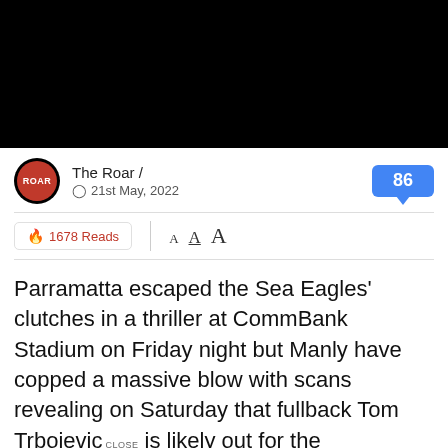[Figure (other): Black video placeholder rectangle at top of page]
The Roar / 21st May, 2022
86 (comment count badge)
1678 Reads  A A A
Parramatta escaped the Sea Eagles' clutches in a thriller at CommBank Stadium on Friday night but Manly have copped a massive blow with scans revealing on Saturday that fullback Tom Trbojevic is likely out for the